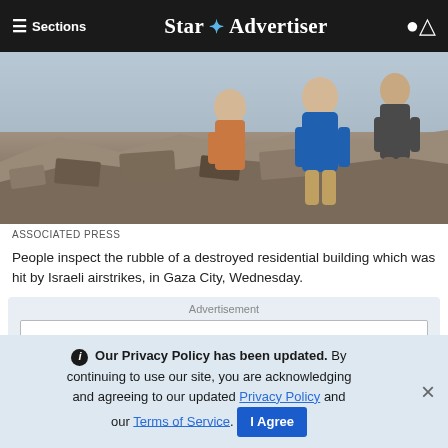≡ Sections  Star ✦ Advertiser
[Figure (photo): People inspecting rubble of a destroyed residential building hit by Israeli airstrikes in Gaza City. Two men visible among concrete debris.]
ASSOCIATED PRESS
People inspect the rubble of a destroyed residential building which was hit by Israeli airstrikes, in Gaza City, Wednesday.
Advertisement
Edit | Embed or Share Optimized Images
ⓘ Our Privacy Policy has been updated. By continuing to use our site, you are acknowledging and agreeing to our updated Privacy Policy and our Terms of Service. I Agree